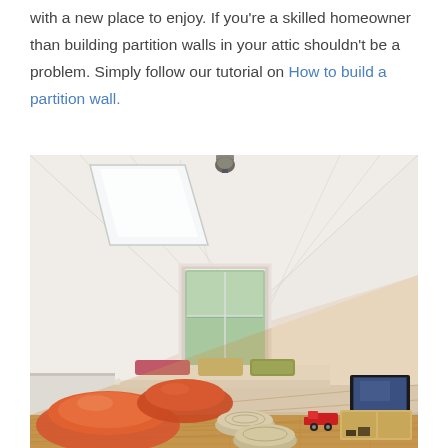with a new place to enjoy. If you're a skilled homeowner than building partition walls in your attic shouldn't be a problem. Simply follow our tutorial on How to build a partition wall.
[Figure (photo): Interior photo of a finished attic room with sloped white wood-paneled ceiling, a skylight on the left, a window centered on the back wall with a built-in bench seat with colorful cushions, two orange bean bag chairs on a hardwood floor, two round woven ottomans, a flat-screen TV on a wooden stand on the right, and a red toy truck.]